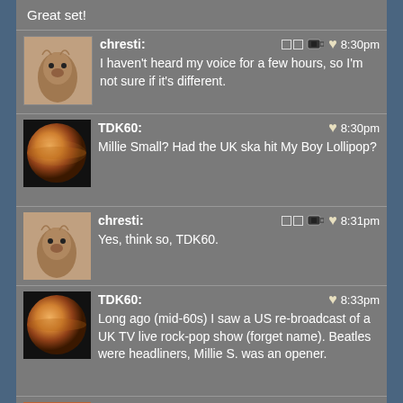Great set!
chresti: 8:30pm — I haven't heard my voice for a few hours, so I'm not sure if it's different.
TDK60: 8:30pm — Millie Small? Had the UK ska hit My Boy Lollipop?
chresti: 8:31pm — Yes, think so, TDK60.
TDK60: 8:33pm — Long ago (mid-60s) I saw a US re-broadcast of a UK TV live rock-pop show (forget name). Beatles were headliners, Millie S. was an opener.
Gary: 8:34pm — Yes, plus a terrific 1970 album that I highly recommend
chresti: 8:36pm — I wonder if it's on YouTube, TDK.
Revolution Rabbit: 8:39pm